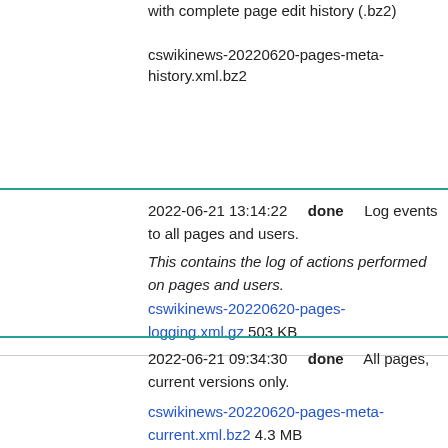with complete page edit history (.bz2)
cswikinews-20220620-pages-meta-history.xml.bz2
2022-06-21 13:14:22  done  Log events to all pages and users.
This contains the log of actions performed on pages and users.
cswikinews-20220620-pages-logging.xml.gz 503 KB
2022-06-21 09:34:30  done  All pages, current versions only.
cswikinews-20220620-pages-meta-current.xml.bz2 4.3 MB